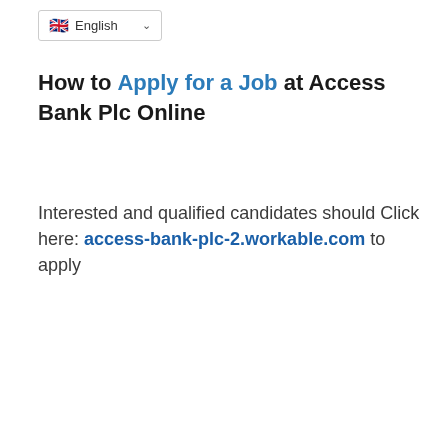[Figure (screenshot): Language selector dropdown showing UK flag and 'English' text with a chevron arrow]
How to Apply for a Job at Access Bank Plc Online
Interested and qualified candidates should Click here: access-bank-plc-2.workable.com to apply